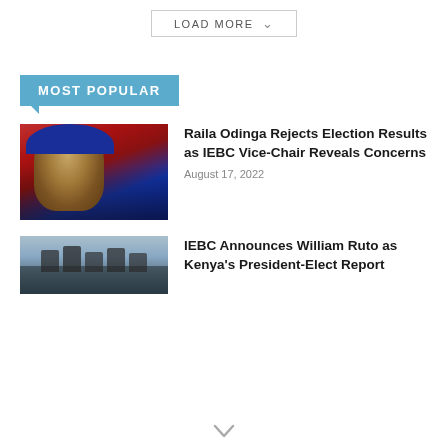MOST POPULAR
Raila Odinga Rejects Election Results as IEBC Vice-Chair Reveals Concerns
August 17, 2022
IEBC Announces William Ruto as Kenya's President-Elect Report
[Figure (photo): Photo of Raila Odinga in front of a red and blue flag]
[Figure (photo): Group photo outdoors with people in uniforms]